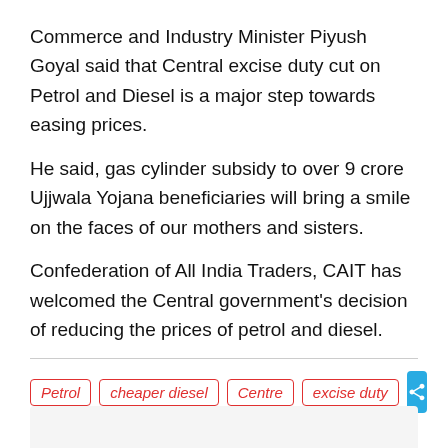Commerce and Industry Minister Piyush Goyal said that Central excise duty cut on Petrol and Diesel is a major step towards easing prices.
He said, gas cylinder subsidy to over 9 crore Ujjwala Yojana beneficiaries will bring a smile on the faces of our mothers and sisters.
Confederation of All India Traders, CAIT has welcomed the Central government's decision of reducing the prices of petrol and diesel.
Petrol
cheaper diesel
Centre
excise duty
India
News
Business news